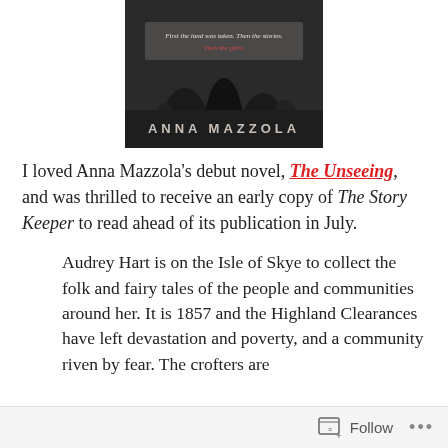[Figure (illustration): Book cover of a novel by Anna Mazzola. Dark moody image with text: 'First the land was taken. Then the stories. Then the girls.' and author name ANNA MAZZOLA at the bottom.]
I loved Anna Mazzola's debut novel, The Unseeing, and was thrilled to receive an early copy of The Story Keeper to read ahead of its publication in July.
Audrey Hart is on the Isle of Skye to collect the folk and fairy tales of the people and communities around her. It is 1857 and the Highland Clearances have left devastation and poverty, and a community riven by fear. The crofters are
Follow ...